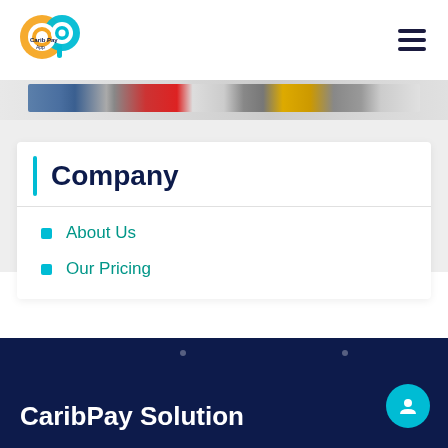[Figure (logo): CaribPay App logo — orange and teal interlocking 'C' and 'P' circles with 'Carib Pay App' text]
[Figure (other): Hamburger menu icon — three dark horizontal lines]
[Figure (other): Partial banner image strip showing colorful logos/cards]
Company
About Us
Our Pricing
CaribPay Solution
[Figure (other): Teal circular chat/support button with user icon]